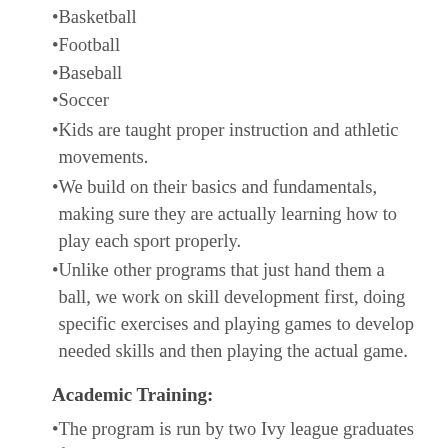Basketball
Football
Baseball
Soccer
Kids are taught proper instruction and athletic movements.
We build on their basics and fundamentals, making sure they are actually learning how to play each sport properly.
Unlike other programs that just hand them a ball, we work on skill development first, doing specific exercises and playing games to develop needed skills and then playing the actual game.
Academic Training:
The program is run by two Ivy league graduates from Cornell University. Kids spend 45 minutes of their time everyday polishing their academics to get a head start on next year.